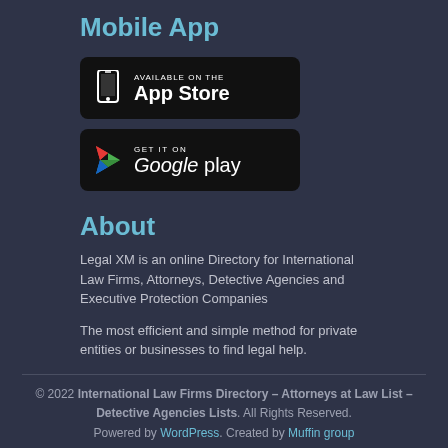Mobile App
[Figure (screenshot): App Store download button with phone icon and text 'AVAILABLE ON THE App Store']
[Figure (screenshot): Google Play download button with play icon and text 'GET IT ON Google play']
About
Legal XM is an online Directory for International Law Firms, Attorneys, Detective Agencies and Executive Protection Companies
The most efficient and simple method for private entities or businesses to find legal help.
© 2022 International Law Firms Directory – Attorneys at Law List – Detective Agencies Lists. All Rights Reserved. Powered by WordPress. Created by Muffin group